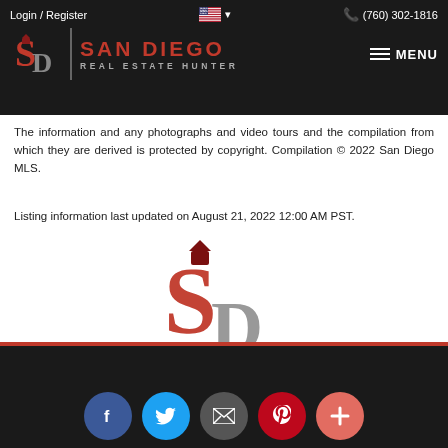Login / Register  🇺🇸 ▾    📞 (760) 302-1816
[Figure (logo): San Diego Real Estate Hunter logo with SD icon and text]
The information and any photographs and video tours and the compilation from which they are derived is protected by copyright. Compilation © 2022 San Diego MLS.
Listing information last updated on August 21, 2022 12:00 AM PST.
[Figure (logo): San Diego Real Estate Hunter SD monogram footer logo in red and gray]
[Figure (infographic): Social media icons row: Facebook, Twitter, Email, Pinterest, Plus]